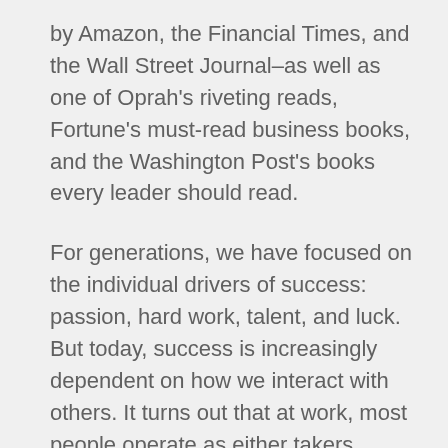by Amazon, the Financial Times, and the Wall Street Journal–as well as one of Oprah's riveting reads, Fortune's must-read business books, and the Washington Post's books every leader should read.
For generations, we have focused on the individual drivers of success: passion, hard work, talent, and luck. But today, success is increasingly dependent on how we interact with others. It turns out that at work, most people operate as either takers, matchers, or givers. Whereas takers strive to get as much as possible from others, and matchers aim to trade equally,